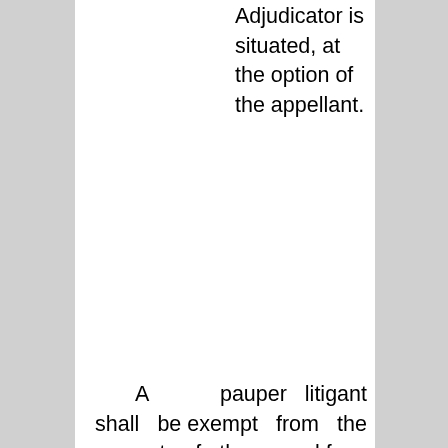Adjudicator is situated, at the option of the appellant.
A pauper litigant shall be exempt from the payment of the appeal fee.
Proof of service of Notice of Appeal to the affected parties and to the Board and payment of appeal fee shall be filed within the